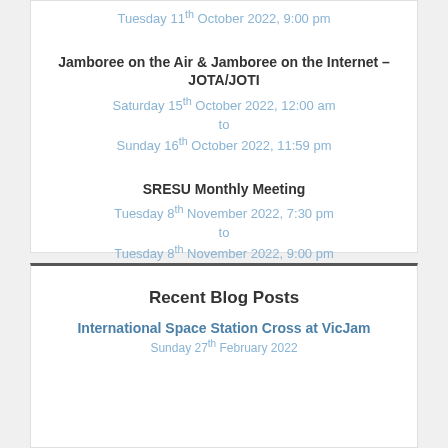Tuesday 11th October 2022, 9:00 pm
Jamboree on the Air & Jamboree on the Internet – JOTA/JOTI
Saturday 15th October 2022, 12:00 am
to
Sunday 16th October 2022, 11:59 pm
SRESU Monthly Meeting
Tuesday 8th November 2022, 7:30 pm
to
Tuesday 8th November 2022, 9:00 pm
View Full Calendar
Recent Blog Posts
International Space Station Cross at VicJam
Sunday 27th February 2022